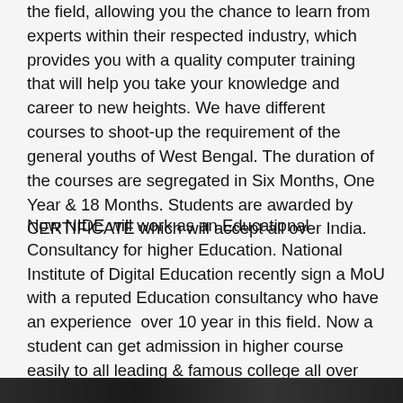All our training courses are taught by professionals in the field, allowing you the chance to learn from experts within their respected industry, which provides you with a quality computer training that will help you take your knowledge and career to new heights. We have different courses to shoot-up the requirement of the general youths of West Bengal. The duration of the courses are segregated in Six Months, One Year & 18 Months. Students are awarded by CERTIFICATE which will accept all over India.
Now NIDE will work as an Educational Consultancy for higher Education. National Institute of Digital Education recently sign a MoU with a reputed Education consultancy who have an experience over 10 year in this field. Now a student can get admission in higher course easily to all leading & famous college all over India.
[Figure (photo): Partial view of a photo strip at the bottom of the page, showing a dark image]